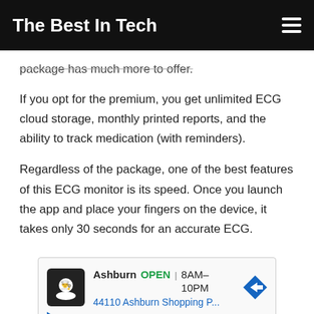The Best In Tech
package has much more to offer.
If you opt for the premium, you get unlimited ECG cloud storage, monthly printed reports, and the ability to track medication (with reminders).
Regardless of the package, one of the best features of this ECG monitor is its speed. Once you launch the app and place your fingers on the device, it takes only 30 seconds for an accurate ECG.
[Figure (other): Advertisement showing a restaurant/food service location in Ashburn, open 8AM-10PM, address 44110 Ashburn Shopping P..., with navigation arrow icon and ad controls.]